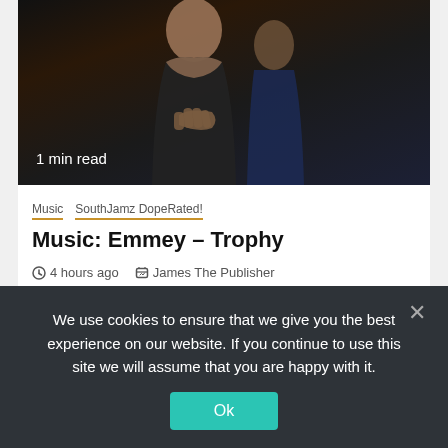[Figure (photo): Dark photo of two people, one with backless black dress, the other in navy. '1 min read' overlay text at bottom left.]
1 min read
Music  SouthJamz DopeRated!
Music: Emmey – Trophy
4 hours ago   James The Publisher
[Figure (photo): Photo of a person with braided hair on a golden/yellow textured background.]
We use cookies to ensure that we give you the best experience on our website. If you continue to use this site we will assume that you are happy with it.